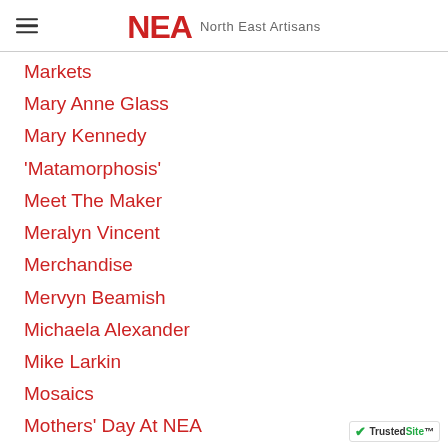NEA North East Artisans
Markets
Mary Anne Glass
Mary Kennedy
'Matamorphosis'
Meet The Maker
Meralyn Vincent
Merchandise
Mervyn Beamish
Michaela Alexander
Mike Larkin
Mosaics
Mothers' Day At NEA
Music At NEA
Myron Lysenko
NEA/GANEAA Amalgamation
NEA/GANEAA Amalgamation?
NEA Office Bearers